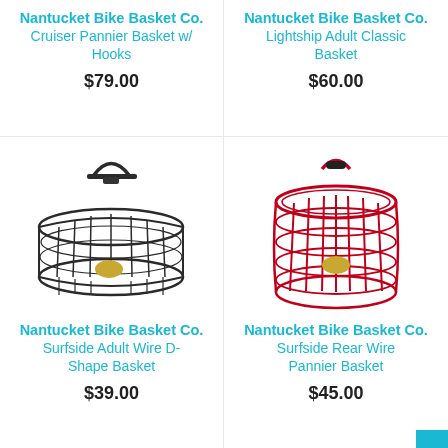Nantucket Bike Basket Co. Cruiser Pannier Basket w/ Hooks
$79.00
Nantucket Bike Basket Co. Lightship Adult Classic Basket
$60.00
[Figure (photo): Black wire D-shape bike basket with handle and gold logo medallion]
Nantucket Bike Basket Co. Surfside Adult Wire D-Shape Basket
$39.00
[Figure (photo): Red wire cylindrical rear pannier bike basket with handle and gold logo medallion]
Nantucket Bike Basket Co. Surfside Rear Wire Pannier Basket
$45.00